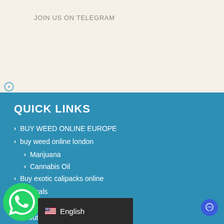JOIN US ON TELEGRAM
QUICK LINKS
BUY WEED ONLINE EUROPE
buy weed online london
Marijuana
Cannabis Oil
Buy exotic calipacks online
Medicals
Shop
About Us
Shipping and Delivery
English